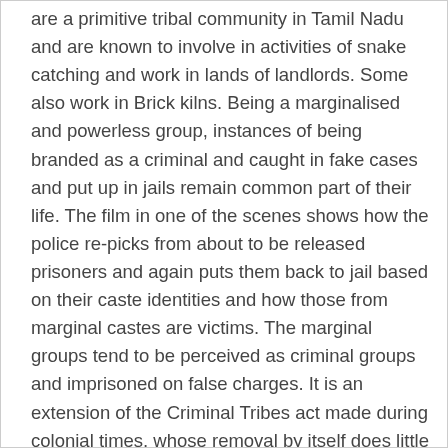are a primitive tribal community in Tamil Nadu and are known to involve in activities of snake catching and work in lands of landlords. Some also work in Brick kilns. Being a marginalised and powerless group, instances of being branded as a criminal and caught in fake cases and put up in jails remain common part of their life. The film in one of the scenes shows how the police re-picks from about to be released prisoners and again puts them back to jail based on their caste identities and how those from marginal castes are victims. The marginal groups tend to be perceived as criminal groups and imprisoned on false charges. It is an extension of the Criminal Tribes act made during colonial times, whose removal by itself does little to change situation of victimization.